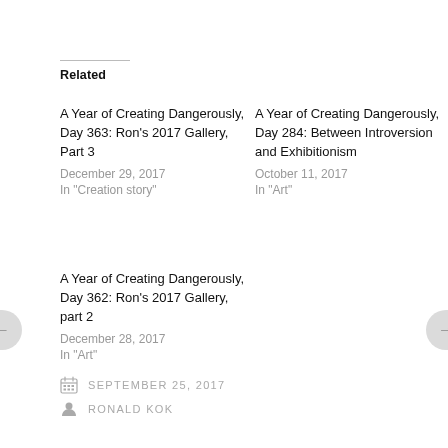Related
A Year of Creating Dangerously, Day 363: Ron's 2017 Gallery, Part 3
December 29, 2017
In "Creation story"
A Year of Creating Dangerously, Day 284: Between Introversion and Exhibitionism
October 11, 2017
In "Art"
A Year of Creating Dangerously, Day 362: Ron's 2017 Gallery, part 2
December 28, 2017
In "Art"
SEPTEMBER 25, 2017
RONALD KOK